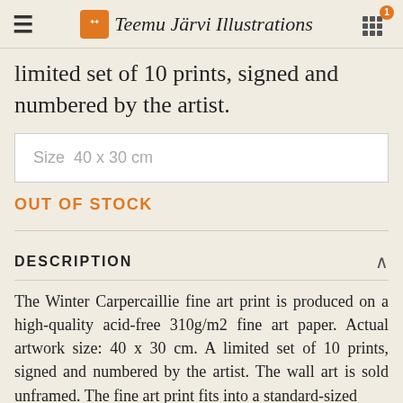Teemu Järvi Illustrations
limited set of 10 prints, signed and numbered by the artist.
Size  40 x 30 cm
OUT OF STOCK
DESCRIPTION
The Winter Carpercaillie fine art print is produced on a high-quality acid-free 310g/m2 fine art paper. Actual artwork size: 40 x 30 cm. A limited set of 10 prints, signed and numbered by the artist. The wall art is sold unframed. The fine art print fits into a standard-sized